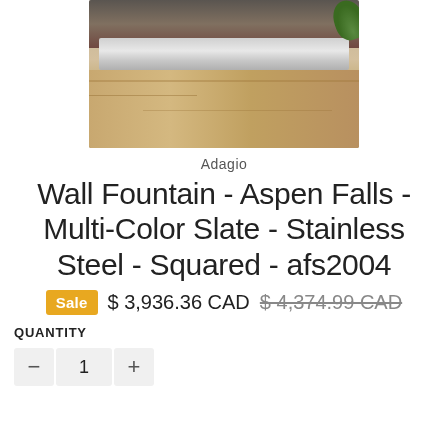[Figure (photo): Product photo of a wall fountain with stainless steel basin on wooden base, viewed from above]
Adagio
Wall Fountain - Aspen Falls - Multi-Color Slate - Stainless Steel - Squared - afs2004
Sale  $ 3,936.36 CAD  $ 4,374.99 CAD
QUANTITY
1